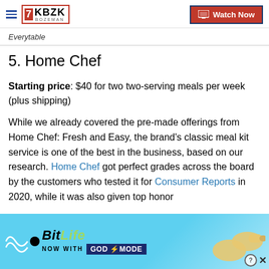KBZK Bozeman | Watch Now
Everytable
5. Home Chef
Starting price: $40 for two two-serving meals per week (plus shipping)
While we already covered the pre-made offerings from Home Chef: Fresh and Easy, the brand's classic meal kit service is one of the best in the business, based on our research. Home Chef got perfect grades across the board by the customers who tested it for Consumer Reports in 2020, while it was also given top honor
[Figure (other): BitLife advertisement banner — 'BitLife NOW WITH GOD MODE' on a blue background with illustrated pointing hand]